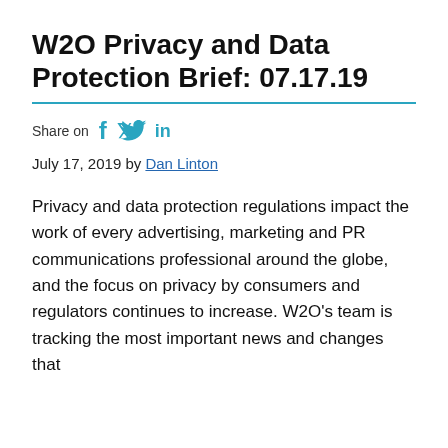W2O Privacy and Data Protection Brief: 07.17.19
Share on [facebook] [twitter] [linkedin]
July 17, 2019 by Dan Linton
Privacy and data protection regulations impact the work of every advertising, marketing and PR communications professional around the globe, and the focus on privacy by consumers and regulators continues to increase. W2O's team is tracking the most important news and changes that